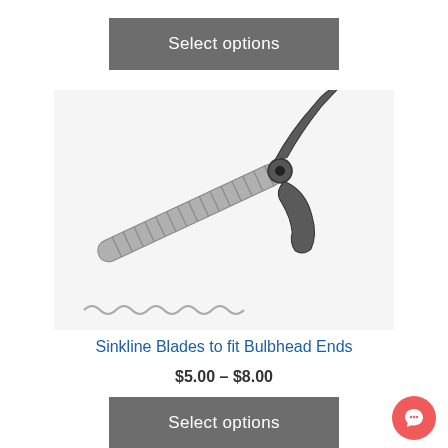Select options
[Figure (photo): A metal drain snake or plumber's snake with a coiled spring cable ending in a corkscrew/bulbhead blade attachment, photographed on white background]
Sinkline Blades to fit Bulbhead Ends
$5.00 – $8.00
Select options